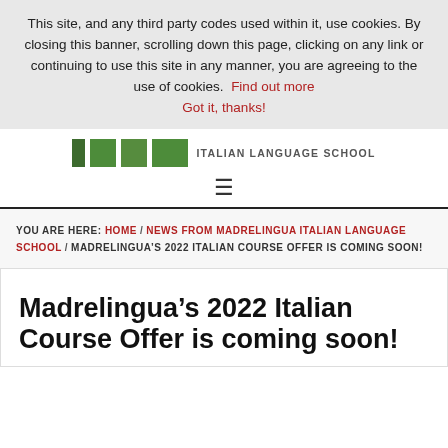This site, and any third party codes used within it, use cookies. By closing this banner, scrolling down this page, clicking on any link or continuing to use this site in any manner, you are agreeing to the use of cookies. Find out more  Got it, thanks!
[Figure (logo): Madrelingua Italian Language School logo with green block squares and text]
YOU ARE HERE: HOME / NEWS FROM MADRELINGUA ITALIAN LANGUAGE SCHOOL / MADRELINGUA'S 2022 ITALIAN COURSE OFFER IS COMING SOON!
Madrelingua’s 2022 Italian Course Offer is coming soon!